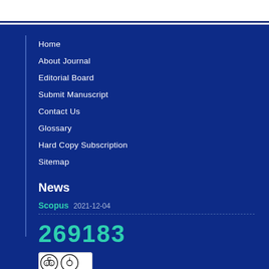Home
About Journal
Editorial Board
Submit Manuscript
Contact Us
Glossary
Hard Copy Subscription
Sitemap
News
Scopus 2021-12-04
269183
[Figure (logo): Creative Commons CC BY license badge]